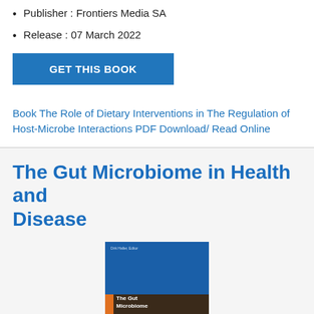Publisher : Frontiers Media SA
Release : 07 March 2022
GET THIS BOOK
Book The Role of Dietary Interventions in The Regulation of Host-Microbe Interactions PDF Download/ Read Online
The Gut Microbiome in Health and Disease
[Figure (illustration): Book cover of 'The Gut Microbiome in Health and Disease' showing a blue upper section with author name and dark lower section with orange spine accent and white title text.]